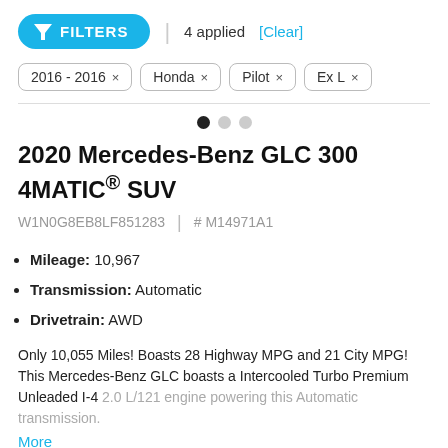FILTERS | 4 applied [Clear]
2016 - 2016 ×
Honda ×
Pilot ×
Ex L ×
2020 Mercedes-Benz GLC 300 4MATIC® SUV
W1N0G8EB8LF851283 | # M14971A1
Mileage: 10,967
Transmission: Automatic
Drivetrain: AWD
Only 10,055 Miles! Boasts 28 Highway MPG and 21 City MPG! This Mercedes-Benz GLC boasts a Intercooled Turbo Premium Unleaded I-4 2.0 L/121 engine powering this Automatic transmission.
More
Mercedes-Benz Certified
Pro-Owned Vehicles